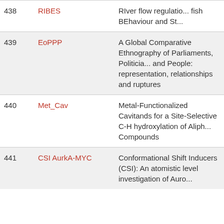| # | Code | Description |
| --- | --- | --- |
| 438 | RIBES | RIver flow regulation, fish BEhaviour and St... |
| 439 | EoPPP | A Global Comparative Ethnography of Parliaments, Politicia... and People: representation, relationships and ruptures |
| 440 | Met_Cav | Metal-Functionalized Cavitands for a Site-Selective C-H hydroxylation of Aliph... Compounds |
| 441 | CSI AurkA-MYC | Conformational Shift Inducers (CSI): An atomistic level investigation of Auro... |